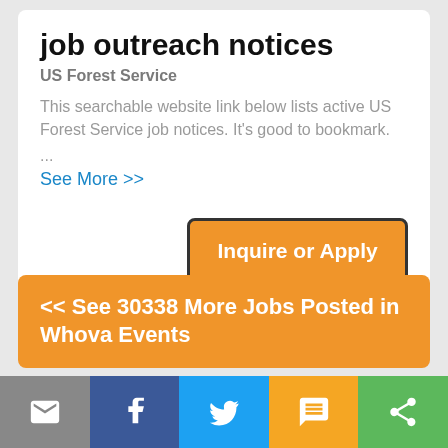job outreach notices
US Forest Service
This searchable website link below lists active US Forest Service job notices. It's good to bookmark.
...
See More >>
Inquire or Apply
<< See 30338 More Jobs Posted in Whova Events